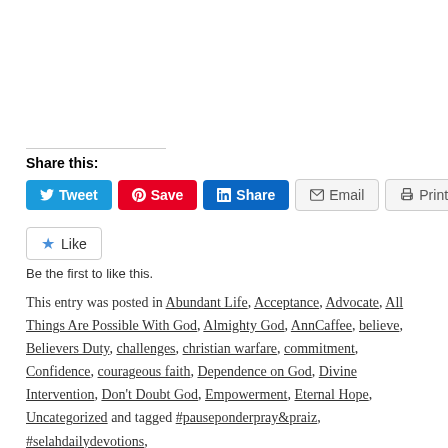Share this:
[Figure (infographic): Social sharing buttons: Tweet (Twitter/blue), Save (Pinterest/red), Share (LinkedIn/blue), Email (grey), Print (grey)]
[Figure (infographic): Like button with star icon and text 'Like', followed by 'Be the first to like this.']
This entry was posted in Abundant Life, Acceptance, Advocate, All Things Are Possible With God, Almighty God, AnnCaffee, believe, Believers Duty, challenges, christian warfare, commitment, Confidence, courageous faith, Dependence on God, Divine Intervention, Don't Doubt God, Empowerment, Eternal Hope, Uncategorized and tagged #pauseponderpray&praiz, #selahdailydevotions,